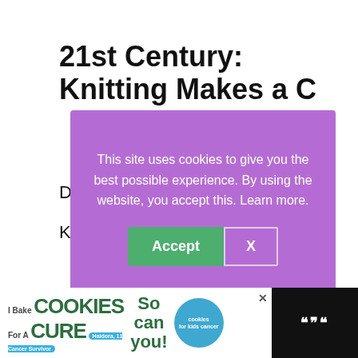21st Century: Knitting Makes a C...
D...
K...
[Figure (screenshot): Cookie consent modal overlay with purple background. Text: 'This site uses cookies to give you the best possible experience. By using the website, you accept this. Learn more.' Two buttons: green 'Accept' button and outlined 'X' button.]
This revival is from the growth of the internet,
The “Handmade Revolution,” and interest in DIY Crafts.
[Figure (screenshot): Advertisement banner at bottom: 'I Bake COOKIES For A CURE' with Haidora cancer survivor branding, 'So can you!' text, cookies for kids cancer logo, and Mochi/app icon on dark background.]